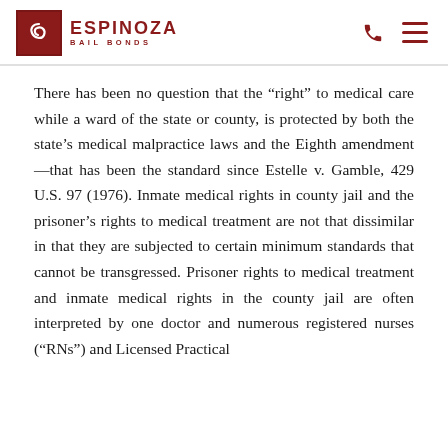Espinoza Bail Bonds
There has been no question that the “right” to medical care while a ward of the state or county, is protected by both the state’s medical malpractice laws and the Eighth amendment—that has been the standard since Estelle v. Gamble, 429 U.S. 97 (1976). Inmate medical rights in county jail and the prisoner’s rights to medical treatment are not that dissimilar in that they are subjected to certain minimum standards that cannot be transgressed. Prisoner rights to medical treatment and inmate medical rights in the county jail are often interpreted by one doctor and numerous registered nurses (“RNs”) and Licensed Practical